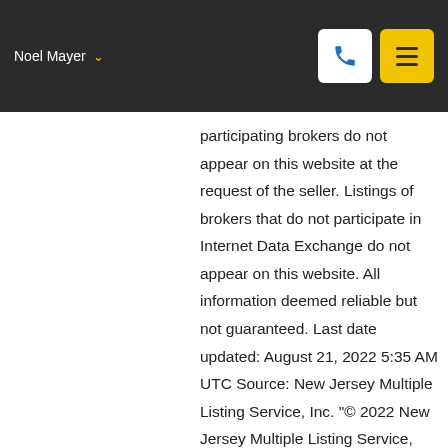Noel Mayer
participating brokers do not appear on this website at the request of the seller. Listings of brokers that do not participate in Internet Data Exchange do not appear on this website. All information deemed reliable but not guaranteed. Last date updated: August 21, 2022 5:35 AM UTC Source: New Jersey Multiple Listing Service, Inc. "© 2022 New Jersey Multiple Listing Service, Inc. All rights reserved."